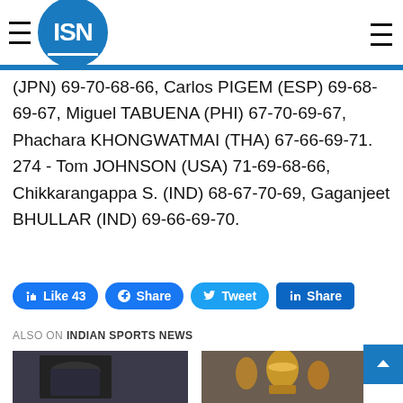ISN - Indian Sports News
(JPN) 69-70-68-66, Carlos PIGEM (ESP) 69-68-69-67, Miguel TABUENA (PHI) 67-70-69-67, Phachara KHONGWATMAI (THA) 67-66-69-71. 274 - Tom JOHNSON (USA) 71-69-68-66, Chikkarangappa S. (IND) 68-67-70-69, Gaganjeet BHULLAR (IND) 69-66-69-70.
[Figure (infographic): Social sharing buttons: Like 43, Share (Facebook), Tweet (Twitter), Share (LinkedIn)]
ALSO ON INDIAN SPORTS NEWS
[Figure (photo): Thumbnail photo on left - person with cricket cap]
[Figure (photo): Thumbnail photo on right - IPL trophy]